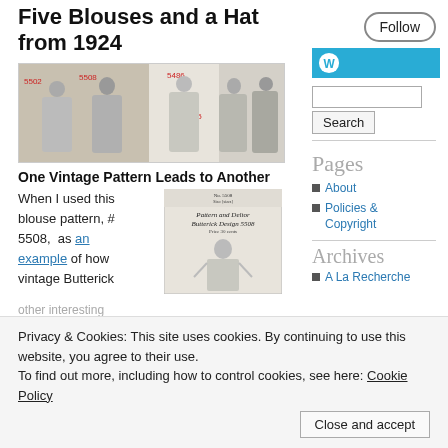Five Blouses and a Hat from 1924
[Figure (illustration): Follow button (pill-shaped outline button)]
[Figure (illustration): Vintage fashion illustration showing women in blouses and hats, with pattern numbers 5502, 5508, 5486, 5455, 5155 labeled]
One Vintage Pattern Leads to Another
When I used this blouse pattern, # 5508, as an example of how vintage Butterick
[Figure (illustration): Vintage Butterick pattern envelope for Pattern and Deltor Butterick Design 5508, Price 30 cents, showing illustration of woman in blouse]
[Figure (logo): WordPress W logo on cyan/blue bar]
Search input and button
Pages
About
Policies & Copyright
Archives
A La Recherche
Privacy & Cookies: This site uses cookies. By continuing to use this website, you agree to their use.
To find out more, including how to control cookies, see here: Cookie Policy
Close and accept